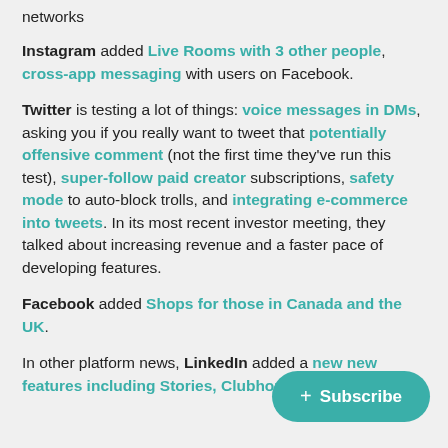networks
Instagram added Live Rooms with 3 other people, cross-app messaging with users on Facebook.
Twitter is testing a lot of things: voice messages in DMs, asking you if you really want to tweet that potentially offensive comment (not the first time they've run this test), super-follow paid creator subscriptions, safety mode to auto-block trolls, and integrating e-commerce into tweets. In its most recent investor meeting, they talked about increasing revenue and a faster pace of developing features.
Facebook added Shops for those in Canada and the UK.
In other platform news, LinkedIn added a new new features including Stories, Clubhouse and 12...